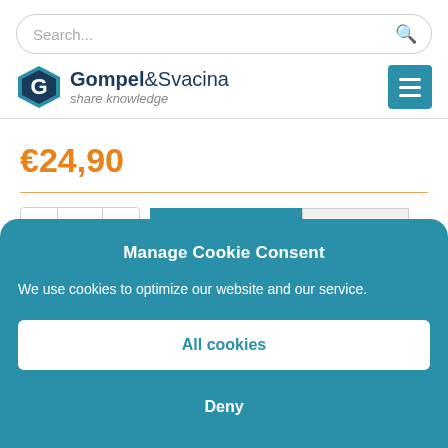[Figure (screenshot): Search bar with magnifying glass icon]
[Figure (logo): Gompel&Svacina logo with diamond icon and tagline 'share knowledge', plus teal menu button]
€24,90
[Figure (screenshot): Quantity selector with minus, 1, plus buttons, ADD TO CART button in teal, VIEW CART button in gray]
Manage Cookie Consent
We use cookies to optimize our website and our service.
All cookies
Deny